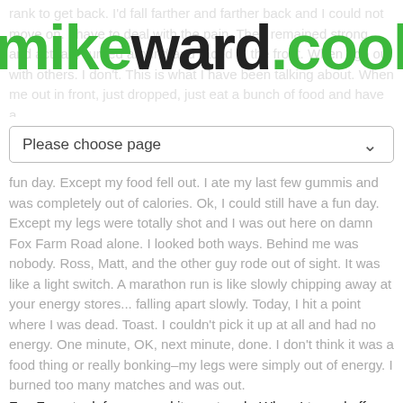mikeward.cool
Please choose page
fun day. Except my food fell out. I ate my last few gummis and was completely out of calories. Ok, I could still have a fun day. Except my legs were totally shot and I was out here on damn Fox Farm Road alone. I looked both ways. Behind me was nobody. Ross, Matt, and the other guy rode out of sight. It was like a light switch. A marathon run is like slowly chipping away at your energy stores... falling apart slowly. Today, I hit a point where I was dead. Toast. I couldn't pick it up at all and had no energy. One minute, OK, next minute, done. I don't think it was a food thing or really bonking–my legs were simply out of energy. I burned too many matches and was out.
Fox Farm took forever and it was tough. When I turned off onto Laine Road, I was at least in somewhat good spirits. I wanted to just enjoy being out here. It's OK to pedal an easy gear really slow. I wasn't going to win. My race was really over at the halfway point. Just finish and have fun, I thought. Soak it in. What else would I